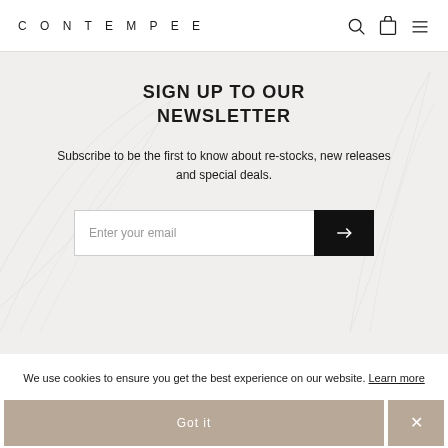CONTEMPEE
SIGN UP TO OUR NEWSLETTER
Subscribe to be the first to know about re-stocks, new releases and special deals.
Enter your email
We use cookies to ensure you get the best experience on our website. Learn more
Got it